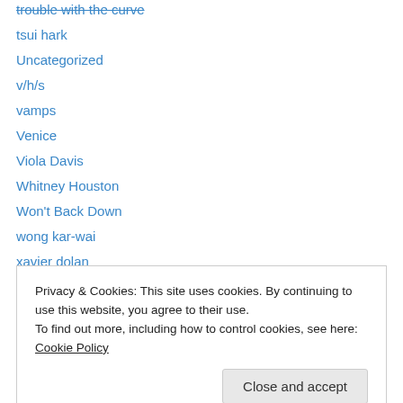trouble with the curve
tsui hark
Uncategorized
v/h/s
vamps
Venice
Viola Davis
Whitney Houston
Won't Back Down
wong kar-wai
xavier dolan
Zero Dark Thirty
Privacy & Cookies: This site uses cookies. By continuing to use this website, you agree to their use.
To find out more, including how to control cookies, see here: Cookie Policy
Close and accept